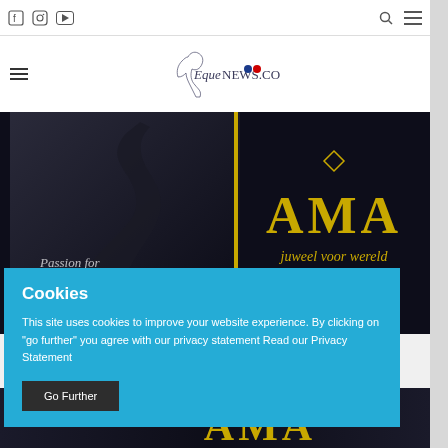Navigation bar with social icons (Facebook, Instagram, YouTube), search and menu icons
[Figure (logo): Equnews.com logo with horse silhouette and French flag colors]
[Figure (photo): Dark equestrian advertisement image showing horse and rider with AMA jewellery brand text 'Passion for HORSES' and 'juweel voor wereld']
Cookies
This site uses cookies to improve your website experience. By clicking on "go further" you agree with our privacy statement Read our Privacy Statement
Go Further
[Figure (photo): Second equestrian/AMA advertisement image strip at bottom]